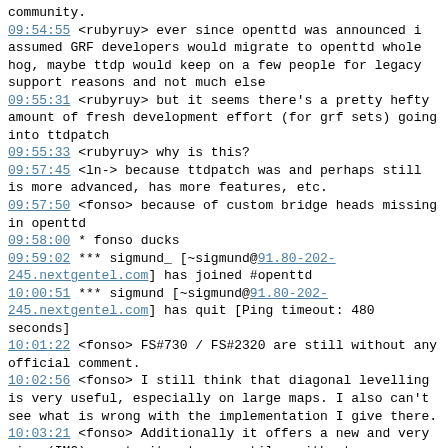community.
09:54:55  <rubyruy> ever since openttd was announced i assumed GRF developers would migrate to openttd whole hog, maybe ttdp would keep on a few people for legacy support reasons and not much else
09:55:31  <rubyruy> but it seems there's  a pretty hefty amount of fresh development effort (for grf sets) going into ttdpatch
09:55:33  <rubyruy> why is this?
09:57:45  <ln-> because ttdpatch was and perhaps still is more advanced, has more features, etc.
09:57:50  <fonso> because of custom bridge heads missing in openttd
09:58:00  * fonso ducks
09:59:02  *** sigmund_ [~sigmund@91.80-202-245.nextgentel.com] has joined #openttd
10:00:51  *** sigmund [~sigmund@91.80-202-245.nextgentel.com] has quit [Ping timeout: 480 seconds]
10:01:22  <fonso> FS#730 / FS#2320 are still without any official comment.
10:02:56  <fonso> I still think that diagonal levelling is very useful, especially on large maps. I also can't see what is wrong with the implementation I give there.
10:03:21  <fonso> Additionally it offers a new and very nice (IMO) way to iterate over tiles without macros.
10:05:29  <fonso> actually I made two patches